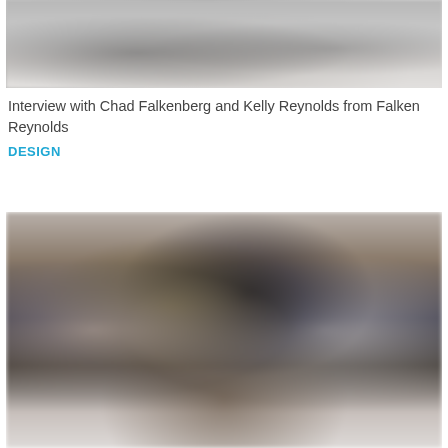[Figure (photo): Blurred black and white photograph, appears to show objects on a surface from above]
Interview with Chad Falkenberg and Kelly Reynolds from Falken Reynolds
DESIGN
[Figure (photo): Blurred color photograph showing dark objects, possibly bottles or containers, against a light background]